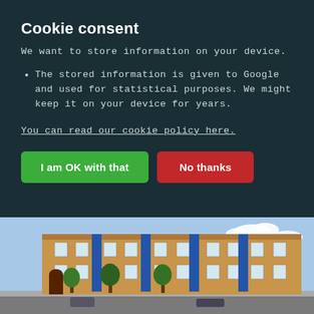Cookie consent
We want to store information on your device.
The stored information is given to Google and used for statistical purposes. We might keep it on your device for years.
You can read our cookie policy here.
I am OK with that | No thanks
[Figure (photo): Exterior photo of a multi-story brick apartment or university building with blue banner accents, trees in front, and a blue sky with clouds in the background.]